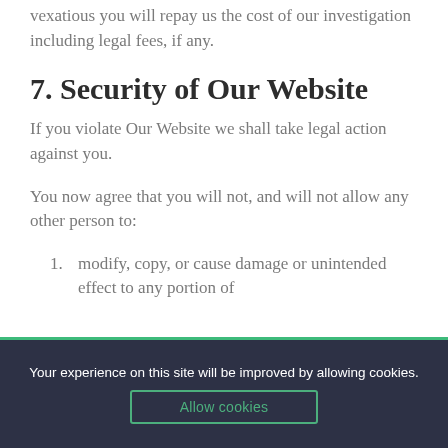vexatious you will repay us the cost of our investigation including legal fees, if any.
7. Security of Our Website
If you violate Our Website we shall take legal action against you.
You now agree that you will not, and will not allow any other person to:
modify, copy, or cause damage or unintended effect to any portion of
Your experience on this site will be improved by allowing cookies.
Allow cookies